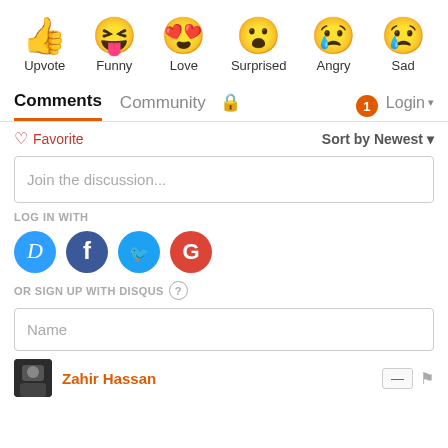[Figure (infographic): Six emoji reaction icons in a row: thumbs up (Upvote), laughing with tongue out (Funny), heart eyes (Love), surprised face (Surprised), crying/angry face (Angry), sad face with tear (Sad)]
Comments   Community   [lock icon]   [1 notification]  Login ▼
♡ Favorite                      Sort by Newest ▼
Join the discussion...
LOG IN WITH
[Figure (infographic): Four social login buttons: Disqus (blue D), Facebook (dark blue f), Twitter (blue bird), Google (red G)]
OR SIGN UP WITH DISQUS ?
Name
Zahir Hassan